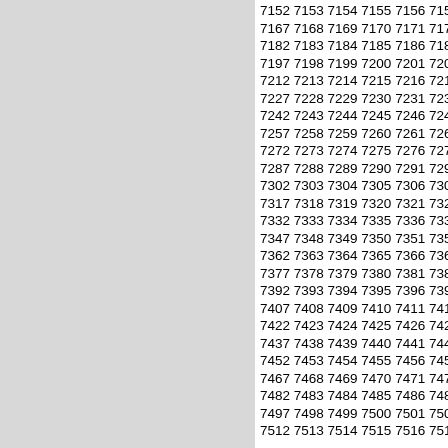[Figure (other): Gray left panel background]
7152 7153 7154 7155 7156 7157 7 7167 7168 7169 7170 7171 7172 7 7182 7183 7184 7185 7186 7187 7 7197 7198 7199 7200 7201 7202 7 7212 7213 7214 7215 7216 7217 7 7227 7228 7229 7230 7231 7232 7 7242 7243 7244 7245 7246 7247 7 7257 7258 7259 7260 7261 7262 7 7272 7273 7274 7275 7276 7277 7 7287 7288 7289 7290 7291 7292 7 7302 7303 7304 7305 7306 7307 7 7317 7318 7319 7320 7321 7322 7 7332 7333 7334 7335 7336 7337 7 7347 7348 7349 7350 7351 7352 7 7362 7363 7364 7365 7366 7367 7 7377 7378 7379 7380 7381 7382 7 7392 7393 7394 7395 7396 7397 7 7407 7408 7409 7410 7411 7412 7 7422 7423 7424 7425 7426 7427 7 7437 7438 7439 7440 7441 7442 7 7452 7453 7454 7455 7456 7457 7 7467 7468 7469 7470 7471 7472 7 7482 7483 7484 7485 7486 7487 7 7497 7498 7499 7500 7501 7502 7 7512 7513 7514 7515 7516 7517 75